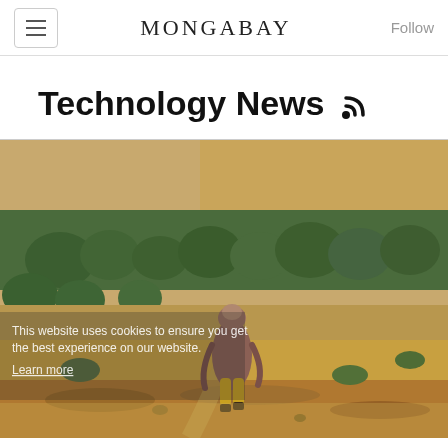MONGABAY
Technology News
[Figure (photo): A person in a brown/mauve robe and yellow pants walking through a dry, sandy landscape with trees and sandy hills in the background. Cookie consent overlay text visible on image: 'This website uses cookies to ensure you get the best experience on our website. Learn more']